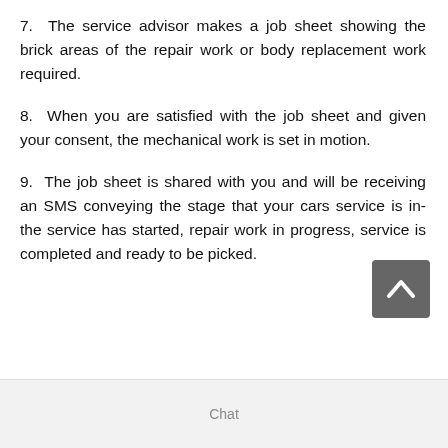7.  The service advisor makes a job sheet showing the brick areas of the repair work or body replacement work required.
8.  When you are satisfied with the job sheet and given your consent, the mechanical work is set in motion.
9.  The job sheet is shared with you and will be receiving an SMS conveying the stage that your cars service is in-the service has started, repair work in progress, service is completed and ready to be picked.
Chat